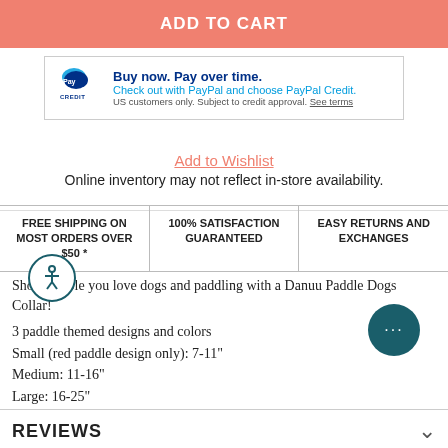ADD TO CART
[Figure (logo): PayPal Credit promotional banner: 'Buy now. Pay over time. Check out with PayPal and choose PayPal Credit. US customers only. Subject to credit approval. See terms']
Add to Wishlist
Online inventory may not reflect in-store availability.
FREE SHIPPING ON MOST ORDERS OVER $50 * | 100% SATISFACTION GUARANTEED | EASY RETURNS AND EXCHANGES
Show people you love dogs and paddling with a Danuu Paddle Dogs Collar!
3 paddle themed designs and colors
Small (red paddle design only): 7-11"
Medium: 11-16"
Large: 16-25"
REVIEWS